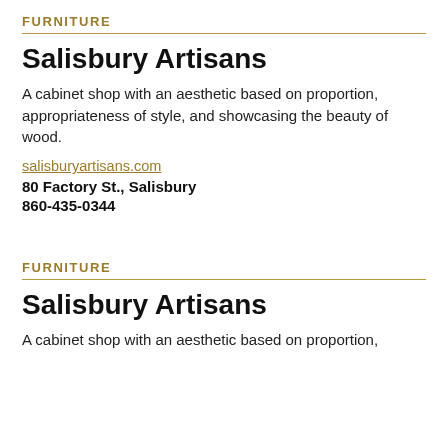FURNITURE
Salisbury Artisans
A cabinet shop with an aesthetic based on proportion, appropriateness of style, and showcasing the beauty of wood.
salisburyartisans.com
80 Factory St., Salisbury
860-435-0344
FURNITURE
Salisbury Artisans
A cabinet shop with an aesthetic based on proportion,